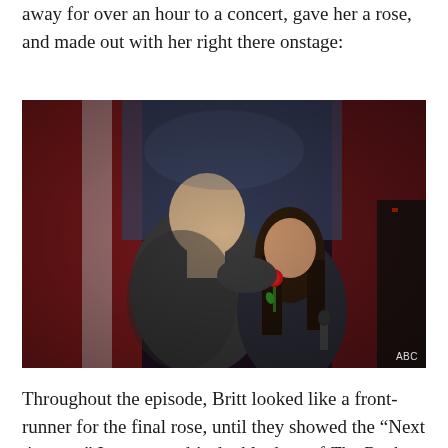away for over an hour to a concert, gave her a rose, and made out with her right there onstage:
[Figure (photo): A couple kissing onstage, the man in a dark grey sweater with his back to camera, the woman holding a red rose, with red and white backdrop behind them. ABC watermark in bottom right corner.]
Throughout the episode, Britt looked like a front-runner for the final rose, until they showed the “Next time on.” In next week’s double dose of The Bach, we get to visit Chris’s hometown of Arlington, Iowa. This season, it has been